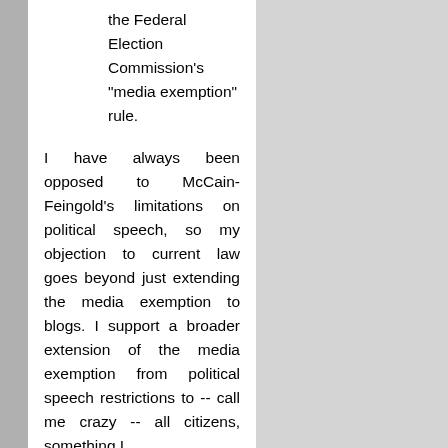the Federal Election Commission's "media exemption" rule.
I have always been opposed to McCain-Feingold's limitations on political speech, so my objection to current law goes beyond just extending the media exemption to blogs. I support a broader extension of the media exemption from political speech restrictions to -- call me crazy -- all citizens, something I